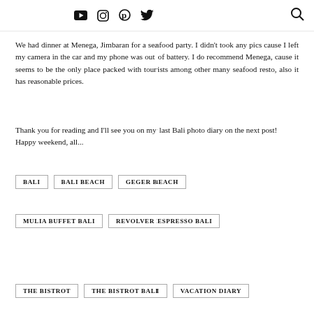YouTube, Instagram, Pinterest, Twitter icons; Search icon
We had dinner at Menega, Jimbaran for a seafood party. I didn't took any pics cause I left my camera in the car and my phone was out of battery. I do recommend Menega, cause it seems to be the only place packed with tourists among other many seafood resto, also it has reasonable prices.
Thank you for reading and I'll see you on my last Bali photo diary on the next post!
Happy weekend, all...
BALI
BALI BEACH
GEGER BEACH
MULIA BUFFET BALI
REVOLVER ESPRESSO BALI
THE BISTROT
THE BISTROT BALI
VACATION DIARY